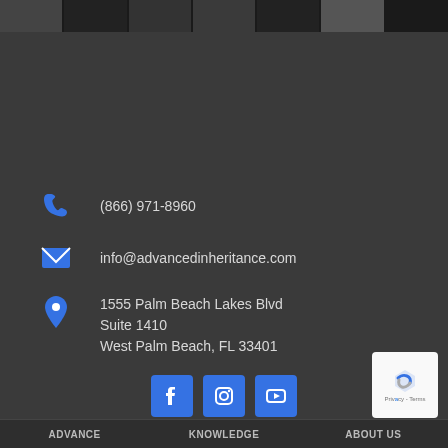[Figure (photo): Dark top banner strip with multiple small thumbnail images]
(866) 971-8960
info@advancedinheritance.com
1555 Palm Beach Lakes Blvd
Suite 1410
West Palm Beach, FL 33401
[Figure (infographic): Row of three social media buttons: Facebook, Instagram, YouTube]
[Figure (infographic): reCAPTCHA badge in bottom right corner]
ADVANCE   KNOWLEDGE   ABOUT US